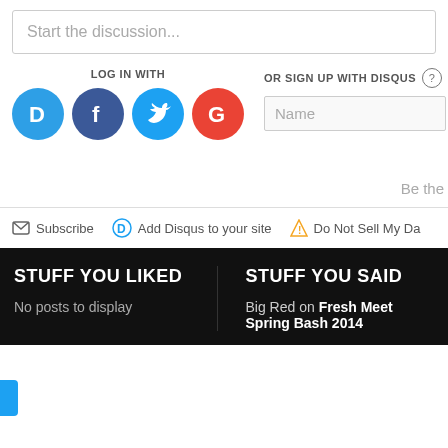Start the discussion...
LOG IN WITH
[Figure (logo): Social login icons: Disqus (blue D), Facebook (dark blue f), Twitter (blue bird), Google (red G)]
OR SIGN UP WITH DISQUS ?
Name
Be the
Subscribe
Add Disqus to your site
Do Not Sell My Da
STUFF YOU LIKED
No posts to display
STUFF YOU SAID
Big Red on Fresh Meet Spring Bash 2014